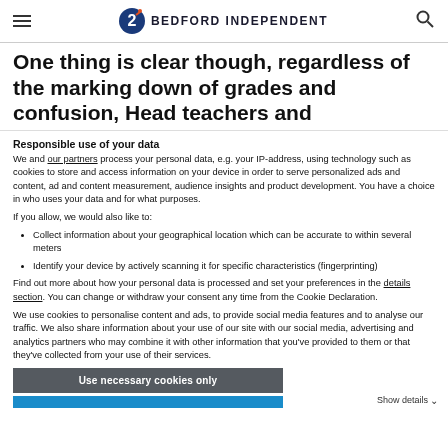Bedford Independent
One thing is clear though, regardless of the marking down of grades and confusion, Head teachers and
Responsible use of your data
We and our partners process your personal data, e.g. your IP-address, using technology such as cookies to store and access information on your device in order to serve personalized ads and content, ad and content measurement, audience insights and product development. You have a choice in who uses your data and for what purposes.
If you allow, we would also like to:
Collect information about your geographical location which can be accurate to within several meters
Identify your device by actively scanning it for specific characteristics (fingerprinting)
Find out more about how your personal data is processed and set your preferences in the details section. You can change or withdraw your consent any time from the Cookie Declaration.
We use cookies to personalise content and ads, to provide social media features and to analyse our traffic. We also share information about your use of our site with our social media, advertising and analytics partners who may combine it with other information that you've provided to them or that they've collected from your use of their services.
Use necessary cookies only
Show details